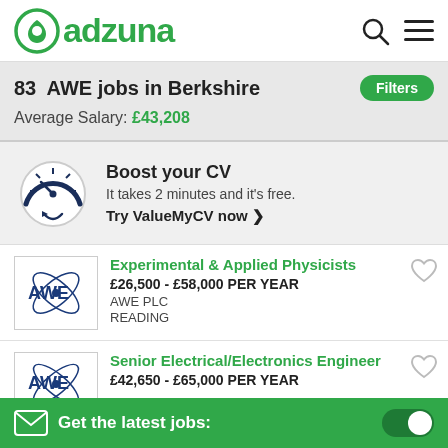adzuna
83 AWE jobs in Berkshire
Average Salary: £43,208
Boost your CV
It takes 2 minutes and it's free.
Try ValueMyCV now ❯
Experimental & Applied Physicists
£26,500 - £58,000 PER YEAR
AWE PLC
READING
Senior Electrical/Electronics Engineer
£42,650 - £65,000 PER YEAR
Get the latest jobs: